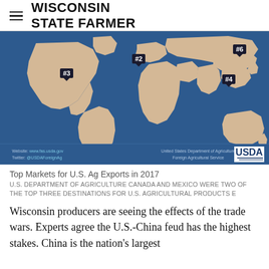WISCONSIN STATE FARMER
[Figure (map): World map with dark blue background and tan continents showing top export destinations. Numbered pins: #2 (South Korea/Japan area), #3 (Mexico/North America), #4 (Southeast Asia), #6 (East Asia). USDA Foreign Agricultural Service branding at bottom with website www.fas.usda.gov and Twitter @USDAForeignAg.]
Top Markets for U.S. Ag Exports in 2017
U.S. DEPARTMENT OF AGRICULTURE CANADA AND MEXICO WERE TWO OF THE TOP THREE DESTINATIONS FOR U.S. AGRICULTURAL PRODUCTS E
Wisconsin producers are seeing the effects of the trade wars. Experts agree the U.S.-China feud has the highest stakes. China is the nation's largest